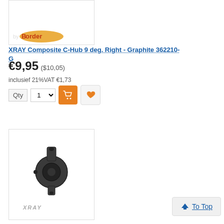[Figure (photo): Product image area with logo at top — partially visible, cropped at top of page]
XRAY Composite C-Hub 9 deg. Right - Graphite 362210-G
€9,95 ($10,05)
inclusief 21%VAT €1,73
[Figure (screenshot): Quantity selector with Qty label, dropdown showing 1, orange shopping cart button, and heart/favorite button]
[Figure (photo): Product photo of XRAY Composite C-Hub part, dark grey plastic component with XRAY logo watermark]
XRAY Composite C-Hub 9 deg. Right 362210
To Top